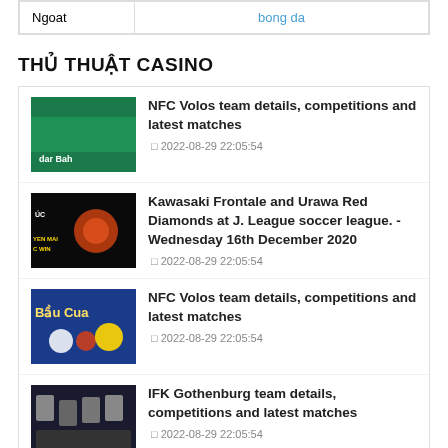| Ngoat | bong da |
| --- | --- |
| Ngoat | bong da |
THỦ THUẬT CASINO
NFC Volos team details, competitions and latest matches — 2022-08-29 22:05:54
Kawasaki Frontale and Urawa Red Diamonds at J. League soccer league. - Wednesday 16th December 2020 — 2022-08-29 22:05:54
NFC Volos team details, competitions and latest matches — 2022-08-29 22:05:54
IFK Gothenburg team details, competitions and latest matches — 2022-08-29 22:05:54